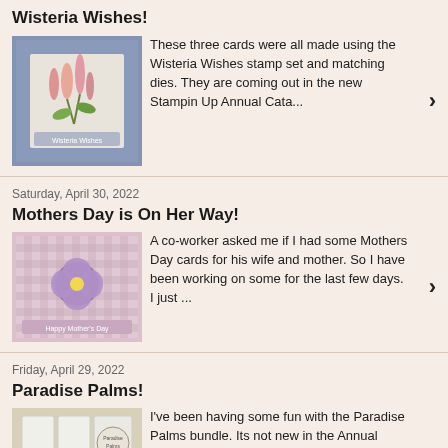Wisteria Wishes!
[Figure (photo): Photo of a handmade card featuring wisteria flowers on a blue patterned background]
These three cards were all made using the Wisteria Wishes stamp set and matching dies. They are coming out in the new Stampin Up Annual Cata...
Saturday, April 30, 2022
Mothers Day is On Her Way!
[Figure (photo): Photo of a handmade Mothers Day card with a pansy flower on a pink gingham background]
A co-worker asked me if I had some Mothers Day cards for his wife and mother. So I have been working on some for the last few days. I just ...
Friday, April 29, 2022
Paradise Palms!
[Figure (photo): Photo of handmade cards featuring palm trees from the Paradise Palms bundle]
I've been having some fun with the Paradise Palms bundle. Its not new in the Annual Catalog. Its a carry over from the Spring Mini cata...